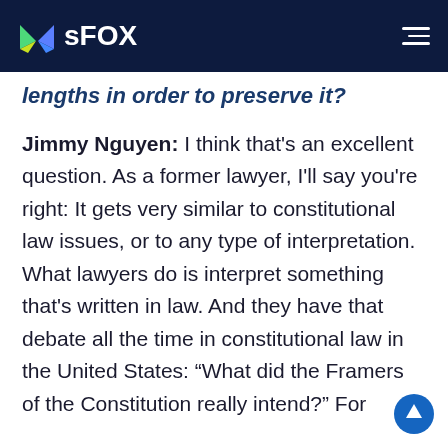sFOX
lengths in order to preserve it?
Jimmy Nguyen: I think that's an excellent question. As a former lawyer, I'll say you're right: It gets very similar to constitutional law issues, or to any type of interpretation. What lawyers do is interpret something that's written in law. And they have that debate all the time in constitutional law in the United States: “What did the Framers of the Constitution really intend?” For